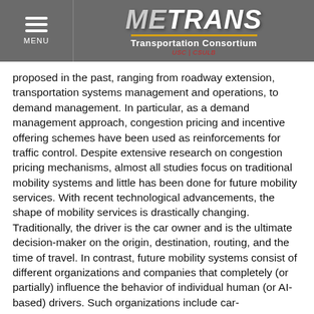METRANS Transportation Consortium USC | CSULB — MENU
proposed in the past, ranging from roadway extension, transportation systems management and operations, to demand management. In particular, as a demand management approach, congestion pricing and incentive offering schemes have been used as reinforcements for traffic control. Despite extensive research on congestion pricing mechanisms, almost all studies focus on traditional mobility systems and little has been done for future mobility services. With recent technological advancements, the shape of mobility services is drastically changing. Traditionally, the driver is the car owner and is the ultimate decision-maker on the origin, destination, routing, and the time of travel. In contrast, future mobility systems consist of different organizations and companies that completely (or partially) influence the behavior of individual human (or AI-based) drivers. Such organizations include car-